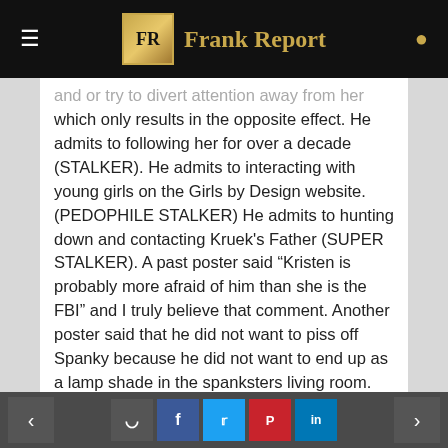Frank Report
and or try to divert attention away from her which only results in the opposite effect. He admits to following her for over a decade (STALKER). He admits to interacting with young girls on the Girls by Design website. (PEDOPHILE STALKER) He admits to hunting down and contacting Kruek's Father (SUPER STALKER). A past poster said "Kristen is probably more afraid of him than she is the FBI" and I truly believe that comment. Another poster said that he did not want to piss off Spanky because he did not want to end up as a lamp shade in the spanksters living room. I'm still laughing at that one. A group of people did not all just decide at once not to like this guy, he brought it on himself over a short time. Oh and
Social share navigation with comment, facebook, twitter, pinterest, linkedin buttons